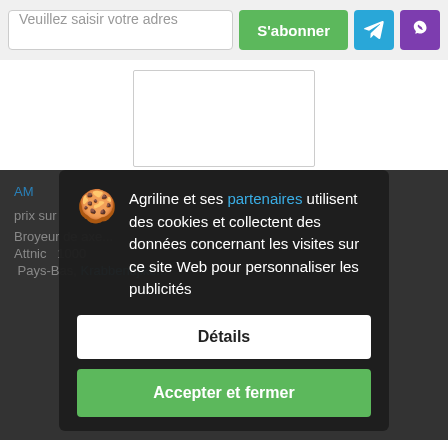[Figure (screenshot): Email subscription input field with placeholder text 'Veuillez saisir votre adres', a green S'abonner button, a blue Telegram button, and a purple Viber button]
[Figure (screenshot): White content area with a card placeholder rectangle]
Agriline et ses partenaires utilisent des cookies et collectent des données concernant les visites sur ce site Web pour personnaliser les publicités
Détails
Accepter et fermer